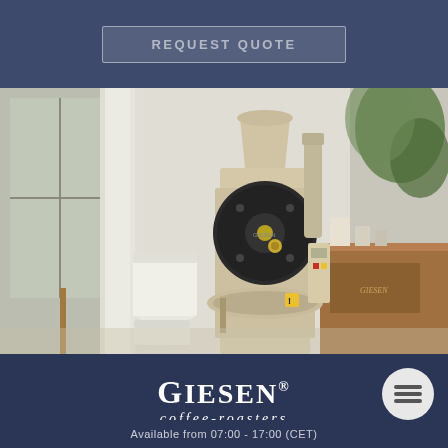REQUEST QUOTE
[Figure (photo): A Giesen coffee roaster machine in a bright, modern cafe/roastery setting. The machine is cream/beige colored with a black drum front. There are white buckets nearby and a wooden counter with coffee accessories in the background. Plants are visible through large windows.]
[Figure (logo): Giesen coffee-roasters logo in white on dark navy background. The word GIESEN is in large serif font with a registered trademark symbol, and 'coffee-roasters' is in smaller italic text below.]
Available from 07:00 - 17:00 (CET)